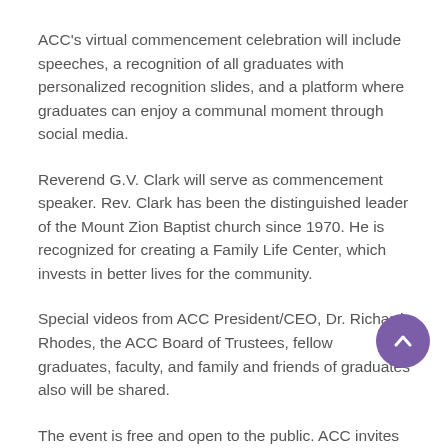ACC's virtual commencement celebration will include speeches, a recognition of all graduates with personalized recognition slides, and a platform where graduates can enjoy a communal moment through social media.
Reverend G.V. Clark will serve as commencement speaker. Rev. Clark has been the distinguished leader of the Mount Zion Baptist church since 1970. He is recognized for creating a Family Life Center, which invests in better lives for the community.
Special videos from ACC President/CEO, Dr. Richard Rhodes, the ACC Board of Trustees, fellow graduates, faculty, and family and friends of graduates also will be shared.
The event is free and open to the public. ACC invites all to wear purple on Saturday, June 6, in